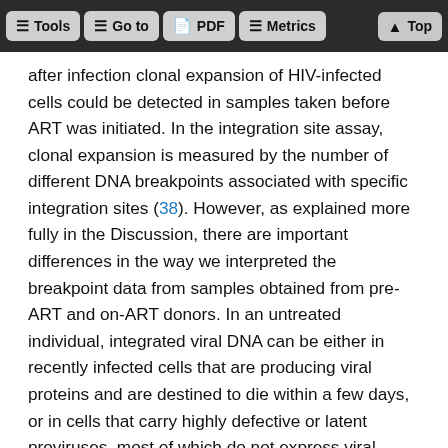Tools  Go to  PDF  Metrics  Top
after infection clonal expansion of HIV-infected cells could be detected in samples taken before ART was initiated. In the integration site assay, clonal expansion is measured by the number of different DNA breakpoints associated with specific integration sites (38). However, as explained more fully in the Discussion, there are important differences in the way we interpreted the breakpoint data from samples obtained from pre-ART and on-ART donors. In an untreated individual, integrated viral DNA can be either in recently infected cells that are producing viral proteins and are destined to die within a few days, or in cells that carry highly defective or latent proviruses, most of which do not express viral proteins (22). Some of the latter cells can survive and divide for many years (35, 39). Therefore, in